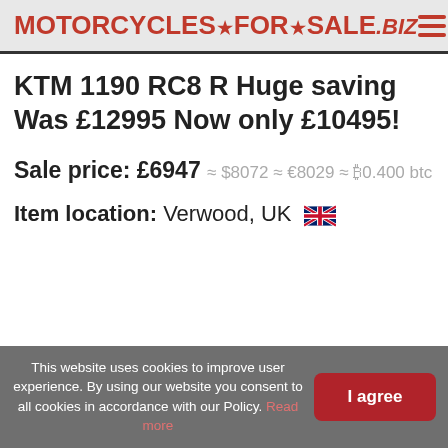MOTORCYCLES★FOR★SALE.biz
KTM 1190 RC8 R Huge saving Was £12995 Now only £10495!
Sale price: £6947 ≈ $8072 ≈ €8029 ≈ ₿0.400 btc
Item location: Verwood, UK 🇬🇧
This website uses cookies to improve user experience. By using our website you consent to all cookies in accordance with our Policy. Read more